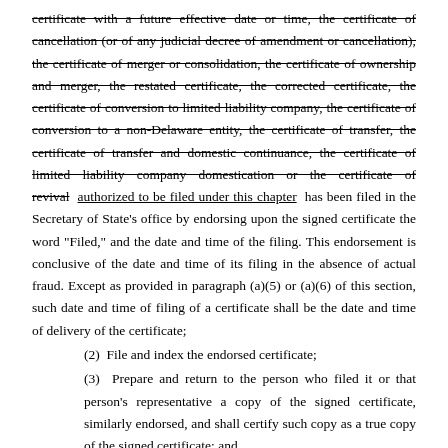certificate with a future effective date or time, the certificate of cancellation (or of any judicial decree of amendment or cancellation), the certificate of merger or consolidation, the certificate of ownership and merger, the restated certificate, the corrected certificate, the certificate of conversion to limited liability company, the certificate of conversion to a non-Delaware entity, the certificate of transfer, the certificate of transfer and domestic continuance, the certificate of limited liability company domestication or the certificate of revival [strikethrough] authorized to be filed under this chapter [underline] has been filed in the Secretary of State's office by endorsing upon the signed certificate the word "Filed," and the date and time of the filing. This endorsement is conclusive of the date and time of its filing in the absence of actual fraud. Except as provided in paragraph (a)(5) or (a)(6) of this section, such date and time of filing of a certificate shall be the date and time of delivery of the certificate;
(2)  File and index the endorsed certificate;
(3)  Prepare and return to the person who filed it or that person's representative a copy of the signed certificate, similarly endorsed, and shall certify such copy as a true copy of the signed certificate; and
(4)  Cause to be entered such information from the certificate as the Secretary of State deems appropriate into the Delaware Corporation Information